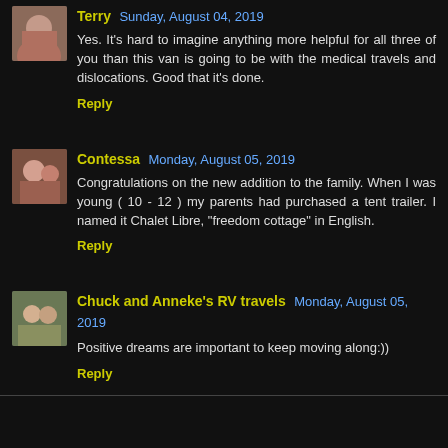Terry  Sunday, August 04, 2019
Yes. It's hard to imagine anything more helpful for all three of you than this van is going to be with the medical travels and dislocations. Good that it's done.
Reply
Contessa  Monday, August 05, 2019
Congratulations on the new addition to the family. When I was young ( 10 - 12 ) my parents had purchased a tent trailer. I named it Chalet Libre, "freedom cottage" in English.
Reply
Chuck and Anneke's RV travels  Monday, August 05, 2019
Positive dreams are important to keep moving along:))
Reply